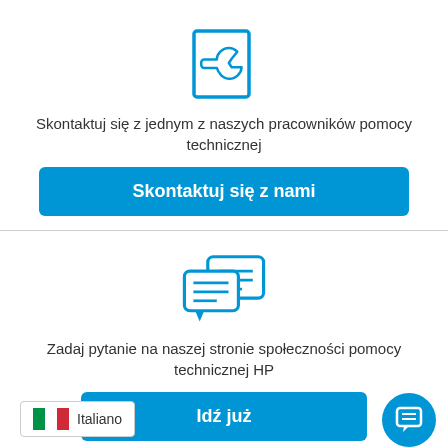[Figure (illustration): Blue wrench/tool icon inside a document outline]
Skontaktuj się z jednym z naszych pracowników pomocy technicznej
[Figure (other): Blue button labeled 'Skontaktuj się z nami']
[Figure (illustration): Blue speech bubble / chat icon]
Zadaj pytanie na naszej stronie społeczności pomocy technicznej HP
[Figure (other): Blue button labeled 'Idź już']
[Figure (illustration): Italian flag with 'Italiano' language badge]
[Figure (illustration): Blue circular chat bubble icon in bottom right corner]